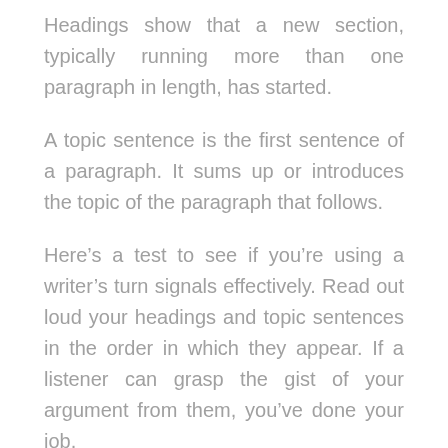Headings show that a new section, typically running more than one paragraph in length, has started.
A topic sentence is the first sentence of a paragraph. It sums up or introduces the topic of the paragraph that follows.
Here’s a test to see if you’re using a writer’s turn signals effectively. Read out loud your headings and topic sentences in the order in which they appear. If a listener can grasp the gist of your argument from them, you’ve done your job.